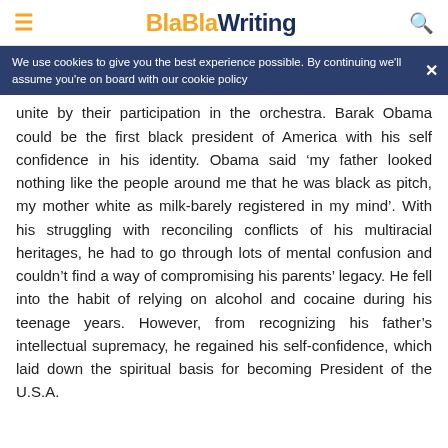BlaBlaWriting
We use cookies to give you the best experience possible. By continuing we'll assume you're on board with our cookie policy
unite by their participation in the orchestra. Barak Obama could be the first black president of America with his self confidence in his identity. Obama said ‘my father looked nothing like the people around me that he was black as pitch, my mother white as milk-barely registered in my mind’. With his struggling with reconciling conflicts of his multiracial heritages, he had to go through lots of mental confusion and couldn’t find a way of compromising his parents’ legacy. He fell into the habit of relying on alcohol and cocaine during his teenage years. However, from recognizing his father’s intellectual supremacy, he regained his self-confidence, which laid down the spiritual basis for becoming President of the U.S.A.